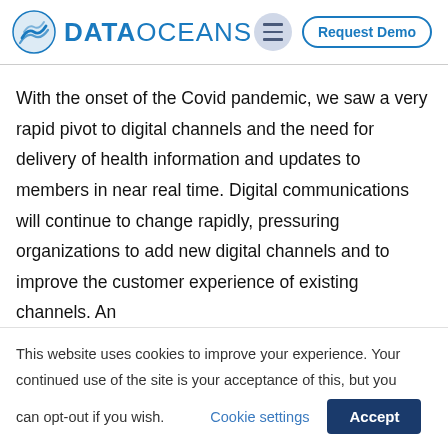DATAOCEANS — Request Demo
With the onset of the Covid pandemic, we saw a very rapid pivot to digital channels and the need for delivery of health information and updates to members in near real time. Digital communications will continue to change rapidly, pressuring organizations to add new digital channels and to improve the customer experience of existing channels. An
This website uses cookies to improve your experience. Your continued use of the site is your acceptance of this, but you can opt-out if you wish. Cookie settings Accept